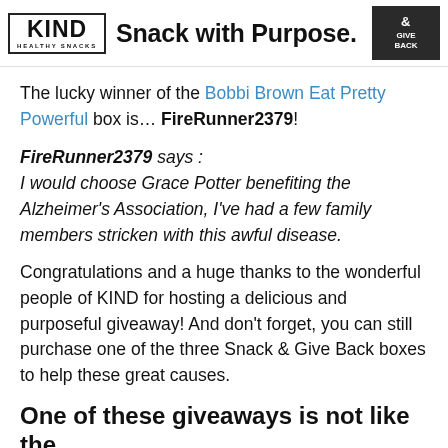[Figure (logo): KIND Healthy Snacks logo on the left, 'Snack with Purpose.' text in the center, and Snack & Give Back logo on the right]
The lucky winner of the Bobbi Brown Eat Pretty Powerful box is… FireRunner2379!
FireRunner2379 says : I would choose Grace Potter benefiting the Alzheimer's Association, I've had a few family members stricken with this awful disease.
Congratulations and a huge thanks to the wonderful people of KIND for hosting a delicious and purposeful giveaway! And don't forget, you can still purchase one of the three Snack & Give Back boxes to help these great causes.
One of these giveaways is not like the